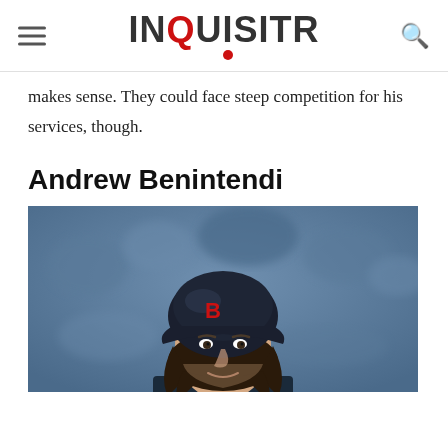INQUISITR
makes sense. They could face steep competition for his services, though.
Andrew Benintendi
[Figure (photo): Andrew Benintendi wearing a Boston Red Sox batting helmet, smiling slightly, with blurred crowd in background]